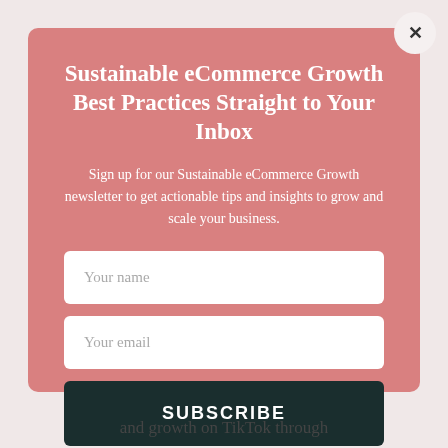Sustainable eCommerce Growth Best Practices Straight to Your Inbox
Sign up for our Sustainable eCommerce Growth newsletter to get actionable tips and insights to grow and scale your business.
Your name
Your email
SUBSCRIBE
and growth on TikTok through